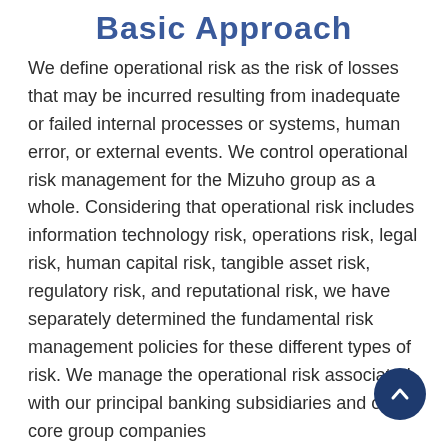Basic Approach
We define operational risk as the risk of losses that may be incurred resulting from inadequate or failed internal processes or systems, human error, or external events. We control operational risk management for the Mizuho group as a whole. Considering that operational risk includes information technology risk, operations risk, legal risk, human capital risk, tangible asset risk, regulatory risk, and reputational risk, we have separately determined the fundamental risk management policies for these different types of risk. We manage the operational risk associated with our principal banking subsidiaries and other core group companies